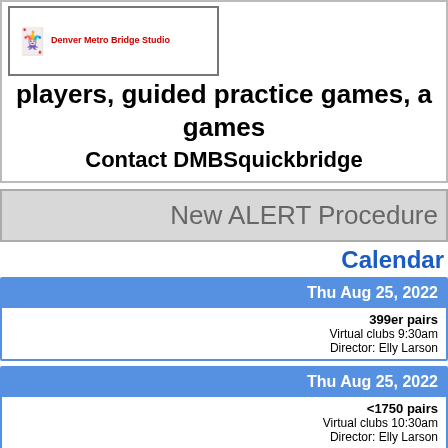[Figure (logo): Denver Metro Bridge Studio logo with red devil figure and playing card imagery]
players, guided practice games, and games
Contact DMBSquickbridge
New ALERT Procedure
Calendar
| Thu Aug 25, 2022 |
| --- |
| 399er pairs | Virtual clubs 9:30am | Director: Elly Larson |
| Thu Aug 25, 2022 |
| --- |
| <1750 pairs | Virtual clubs 10:30am | Director: Elly Larson |
| Fri Aug 26, 2022 |
| --- |
|  |